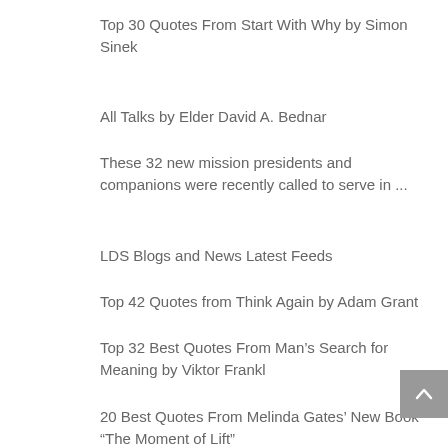Top 30 Quotes From Start With Why by Simon Sinek
All Talks by Elder David A. Bednar
These 32 new mission presidents and companions were recently called to serve in ...
LDS Blogs and News Latest Feeds
Top 42 Quotes from Think Again by Adam Grant
Top 32 Best Quotes From Man's Search for Meaning by Viktor Frankl
20 Best Quotes From Melinda Gates' New Book “The Moment of Lift”
Top 26 Quotes from The 7 Habits of Highly Effective People by Stephen ...